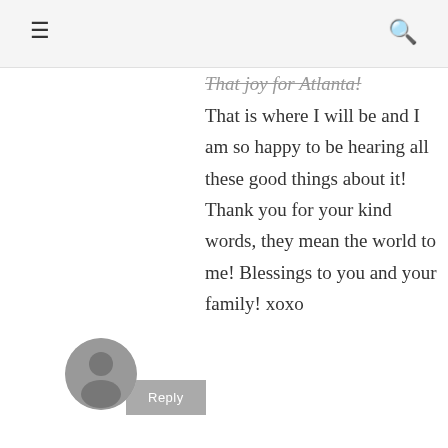☰  🔍
That is where I will be and I am so happy to be hearing all these good things about it! Thank you for your kind words, they mean the world to me! Blessings to you and your family! xoxo
Reply
JASMINE
September 15, 2014 at 9:08 PM
It doesn't matter how you get that baby out of you, YOU grew him